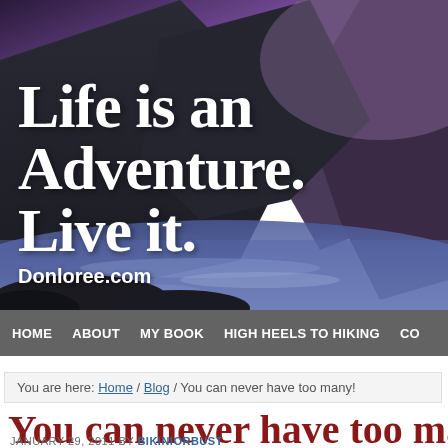[Figure (photo): Coastal seascape with dramatic rocky cliffs and purple/blue sky at dusk, serving as hero banner background for Donloree.com blog]
Life is an Adventure. Live it. Donloree.com
HOME   ABOUT   MY BOOK   HIGH HEELS TO HIKING   CO
You are here: Home / Blog / You can never have too many!
You can never have too ma
JANUARY 29, 2011 BY BIKINIORBUST